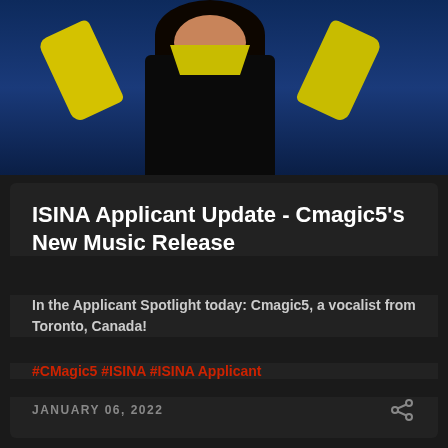[Figure (photo): Photo of Cmagic5, a female vocalist wearing a yellow jacket and black outfit, posed against a blue background with arms raised]
ISINA Applicant Update - Cmagic5's New Music Release
In the Applicant Spotlight today: Cmagic5, a vocalist from Toronto, Canada!
#CMagic5 #ISINA #ISINA Applicant
JANUARY 06, 2022